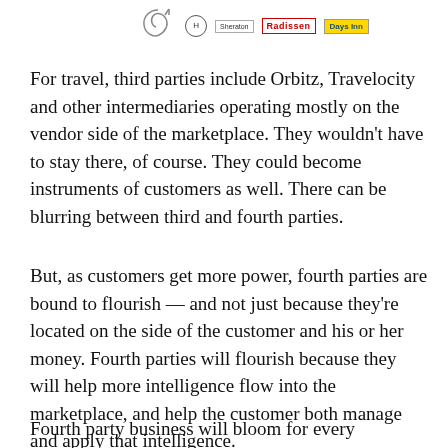[Figure (logo): Row of hotel/travel brand logos: a swirl graphic, a circular badge, Sheraton text logo, Radisson text logo, Days Inn text logo]
For travel, third parties include Orbitz, Travelocity and other intermediaries operating mostly on the vendor side of the marketplace. They wouldn't have to stay there, of course. They could become instruments of customers as well. There can be blurring between third and fourth parties.
But, as customers get more power, fourth parties are bound to flourish — and not just because they're located on the side of the customer and his or her money. Fourth parties will flourish because they will help more intelligence flow into the marketplace, and help the customer both manage and apply that intelligence.
Fourth party business will bloom for every company